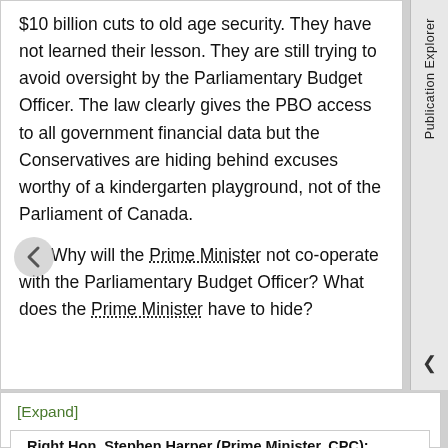$10 billion cuts to old age security. They have not learned their lesson. They are still trying to avoid oversight by the Parliamentary Budget Officer. The law clearly gives the PBO access to all government financial data but the Conservatives are hiding behind excuses worthy of a kindergarten playground, not of the Parliament of Canada.
Why will the Prime Minister not co-operate with the Parliamentary Budget Officer? What does the Prime Minister have to hide?
[Expand]
Right Hon. Stephen Harper (Prime Minister, CPC):
Mr. Speaker, it is necessary to remind the opposition